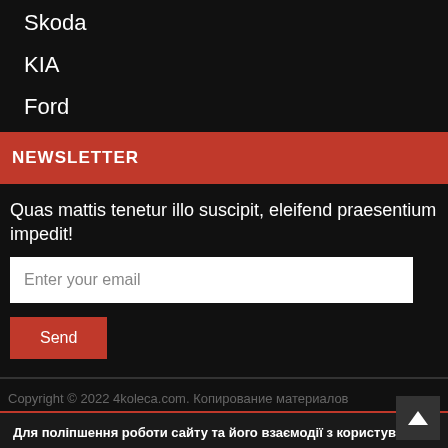Skoda
KIA
Ford
NEWSLETTER
Quas mattis tenetur illo suscipit, eleifend praesentium impedit!
Enter your email
Send
Copyright © 2022 4koleca.com. Копирование материалов
Для поліпшення роботи сайту та його взаємодії з користувачами ми використовуємо файли cookie. Продовжуючи роботу з сайтом, Ви дозволяєте використання cookie-файлів
Згоден